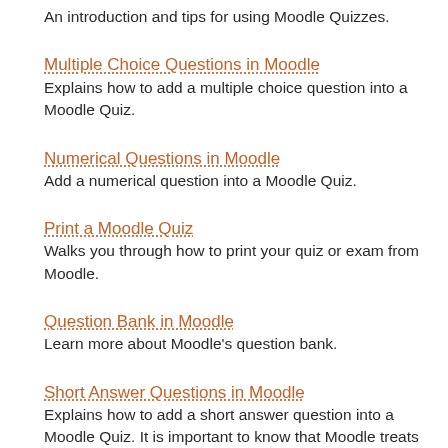An introduction and tips for using Moodle Quizzes.
Multiple Choice Questions in Moodle
Explains how to add a multiple choice question into a Moodle Quiz.
Numerical Questions in Moodle
Add a numerical question into a Moodle Quiz.
Print a Moodle Quiz
Walks you through how to print your quiz or exam from Moodle.
Question Bank in Moodle
Learn more about Moodle's question bank.
Short Answer Questions in Moodle
Explains how to add a short answer question into a Moodle Quiz. It is important to know that Moodle treats Short Answer